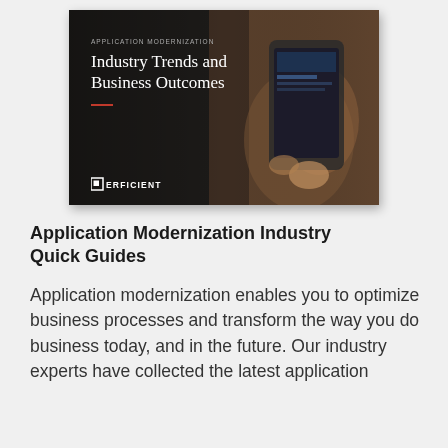[Figure (illustration): Dark-themed book/guide cover showing 'APPLICATION MODERNIZATION' as eyebrow text and 'Industry Trends and Business Outcomes' as title, with a hand holding a smartphone on the right side, red accent line, and Perficient logo at bottom left]
Application Modernization Industry Quick Guides
Application modernization enables you to optimize business processes and transform the way you do business today, and in the future. Our industry experts have collected the latest application